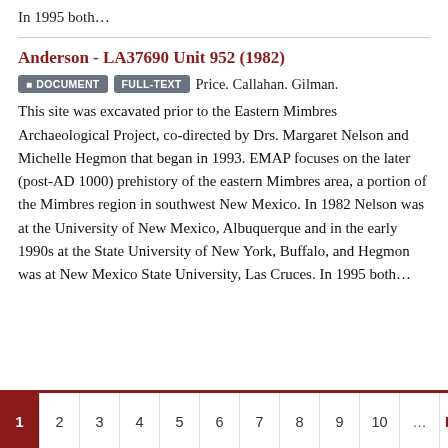In 1995 both…
Anderson - LA37690 Unit 952 (1982)
DOCUMENT  FULL-TEXT  Price. Callahan. Gilman.
This site was excavated prior to the Eastern Mimbres Archaeological Project, co-directed by Drs. Margaret Nelson and Michelle Hegmon that began in 1993. EMAP focuses on the later (post-AD 1000) prehistory of the eastern Mimbres area, a portion of the Mimbres region in southwest New Mexico. In 1982 Nelson was at the University of New Mexico, Albuquerque and in the early 1990s at the State University of New York, Buffalo, and Hegmon was at New Mexico State University, Las Cruces. In 1995 both…
1  2  3  4  5  6  7  8  9  10  …  Last